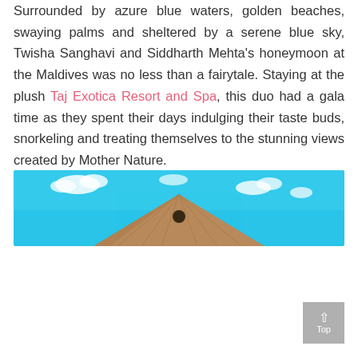Surrounded by azure blue waters, golden beaches, swaying palms and sheltered by a serene blue sky, Twisha Sanghavi and Siddharth Mehta's honeymoon at the Maldives was no less than a fairytale. Staying at the plush Taj Exotica Resort and Spa, this duo had a gala time as they spent their days indulging their taste buds, snorkeling and treating themselves to the stunning views created by Mother Nature.
[Figure (photo): A photo of a thatched roof bungalow against a bright blue sky with scattered white clouds, taken from below at an angle — likely a Maldives overwater villa.]